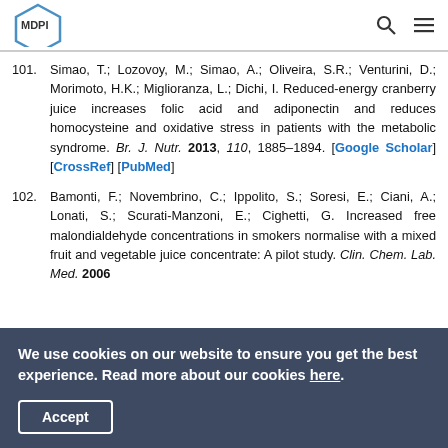MDPI
101. Simao, T.; Lozovoy, M.; Simao, A.; Oliveira, S.R.; Venturini, D.; Morimoto, H.K.; Miglioranza, L.; Dichi, I. Reduced-energy cranberry juice increases folic acid and adiponectin and reduces homocysteine and oxidative stress in patients with the metabolic syndrome. Br. J. Nutr. 2013, 110, 1885–1894. [Google Scholar] [CrossRef] [PubMed]
102. Bamonti, F.; Novembrino, C.; Ippolito, S.; Soresi, E.; Ciani, A.; Lonati, S.; Scurati-Manzoni, E.; Cighetti, G. Increased free malondialdehyde concentrations in smokers normalise with a mixed fruit and vegetable juice concentrate: A pilot study. Clin. Chem. Lab. Med. 2006
We use cookies on our website to ensure you get the best experience. Read more about our cookies here.